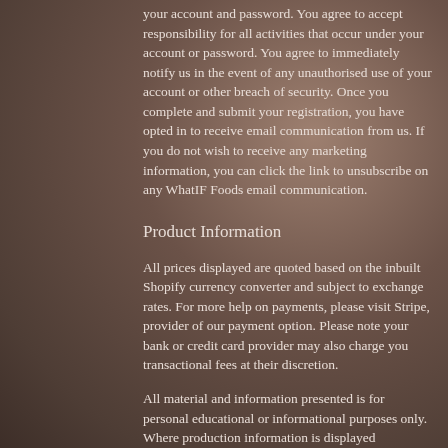your account and password. You agree to accept responsibility for all activities that occur under your account or password. You agree to immediately notify us in the event of any unauthorised use of your account or other breach of security. Once you complete and submit your registration, you have opted in to receive email communication from us. If you do not wish to receive any marketing information, you can click the link to unsubscribe on any WhatIF Foods email communication.
Product Information
All prices displayed are quoted based on the inbuilt Shopify currency converter and subject to exchange rates. For more help on payments, please visit Stripe, provider of our payment option. Please note your bank or credit card provider may also charge you transactional fees at their discretion.
All material and information presented is for personal educational or informational purposes only. Where production information is displayed